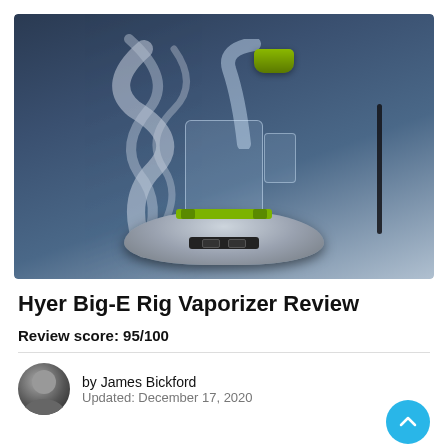[Figure (photo): Product photo of the Hyer Big-E Rig Vaporizer against a dramatic dark blue smoky background. The device features a silver rounded base unit with a glass water pipe/rig attachment, green accent pieces, and a curved glass neck. Wisps of white smoke rise from the device.]
Hyer Big-E Rig Vaporizer Review
Review score: 95/100
by James Bickford
Updated: December 17, 2020